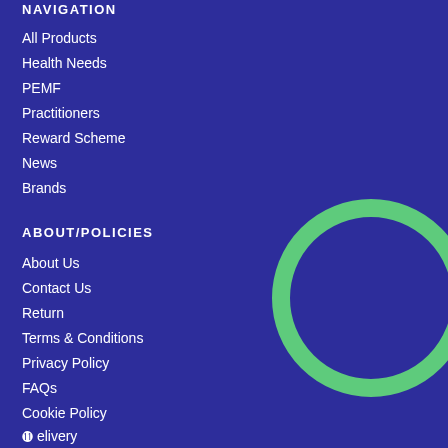NAVIGATION
All Products
Health Needs
PEMF
Practitioners
Reward Scheme
News
Brands
ABOUT/POLICIES
About Us
Contact Us
Return
Terms & Conditions
Privacy Policy
FAQs
Cookie Policy
Delivery
[Figure (illustration): Large green circle outline (ring) on a dark blue background, positioned in the right half of the page]